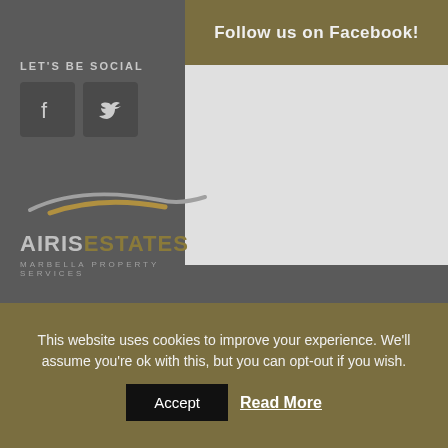Follow us on Facebook!
LET'S BE SOCIAL
[Figure (logo): AIRIS ESTATES Marbella Property Services logo with swoosh graphic]
2022 © AIRIS Estates - Marbella Properties Services
Legal
Privacy
This website uses cookies to improve your experience. We'll assume you're ok with this, but you can opt-out if you wish.
Accept  Read More